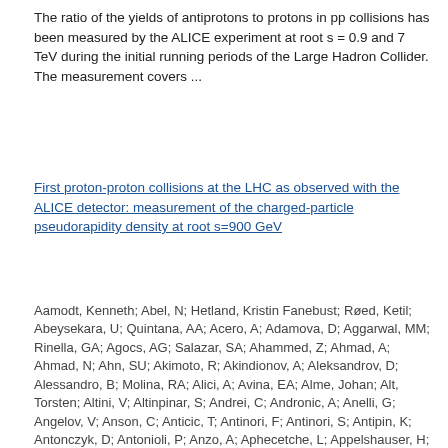The ratio of the yields of antiprotons to protons in pp collisions has been measured by the ALICE experiment at root s = 0.9 and 7 TeV during the initial running periods of the Large Hadron Collider. The measurement covers ...
First proton-proton collisions at the LHC as observed with the ALICE detector: measurement of the charged-particle pseudorapidity density at root s=900 GeV
Aamodt, Kenneth; Abel, N; Hetland, Kristin Fanebust; Røed, Ketil; Abeysekara, U; Quintana, AA; Acero, A; Adamova, D; Aggarwal, MM; Rinella, GA; Agocs, AG; Salazar, SA; Ahammed, Z; Ahmad, A; Ahmad, N; Ahn, SU; Akimoto, R; Akindionov, A; Aleksandrov, D; Alessandro, B; Molina, RA; Alici, A; Avina, EA; Alme, Johan; Alt, Torsten; Altini, V; Altinpinar, S; Andrei, C; Andronic, A; Anelli, G; Angelov, V; Anson, C; Anticic, T; Antinori, F; Antinori, S; Antipin, K; Antonczyk, D; Antonioli, P; Anzo, A; Aphecetche, L; Appelshauser, H; Arcelli, S; Arceo, R; Arend, A; Armesto, N; Arnaldi, R; Aronsson, T; Arsene, Ionut Christian; Asryan, A; Augustinus, A; Averbeck, R; Awes, TC; Aysto, J; Azmi, MD; Bablok, S; Bach, M; Badala, A; Baek, YW; Bagnasco, S; Bailhache, R; Bala, R; Baldisseri, A; Baldit, A; Ban, J; Barbera, R; Barnafoldi, GG; Barnby, L; Barret, V; Bartke, J; Barile, F; Basile, M; Basmanov, V; Bastid, N; Bathen, B; Batigne, G; Batyunya